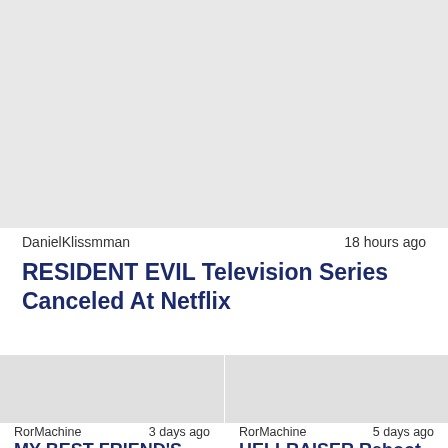[Figure (photo): Article thumbnail image placeholder (light gray background) for Resident Evil article]
DanielKlissmman	18 hours ago
RESIDENT EVIL Television Series Canceled At Netflix
[Figure (photo): Thumbnail image placeholder for My Best Friend's article]
RorMachine	3 days ago
MY BEST FRIEND'S
[Figure (photo): Thumbnail image placeholder for Hellraiser Reboot article]
RorMachine	5 days ago
HELLRAISER Reboot